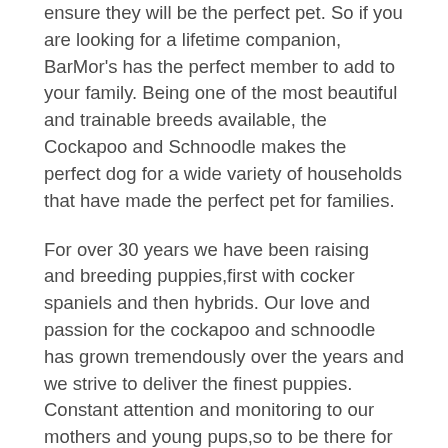ensure they will be the perfect pet. So if you are looking for a lifetime companion, BarMor's has the perfect member to add to your family. Being one of the most beautiful and trainable breeds available, the Cockapoo and Schnoodle makes the perfect dog for a wide variety of households that have made the perfect pet for families.
For over 30 years we have been raising and breeding puppies,first with cocker spaniels and then hybrids. Our love and passion for the cockapoo and schnoodle has grown tremendously over the years and we strive to deliver the finest puppies. Constant attention and monitoring to our mothers and young pups,so to be there for any problems. All of the puppies have a head start on crate training to make for a smooth transition for house breaking. Thank you for visiting our website. Here you will find valuable information on the breeds of our puppies and available puppies for sale. We are dedicated to